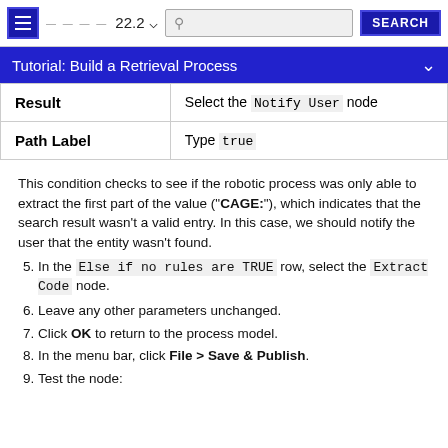22.2 | Tutorial: Build a Retrieval Process
|  |  |
| --- | --- |
| Result | Select the Notify User node |
| Path Label | Type true |
This condition checks to see if the robotic process was only able to extract the first part of the value ("CAGE:"), which indicates that the search result wasn't a valid entry. In this case, we should notify the user that the entity wasn't found.
5. In the Else if no rules are TRUE row, select the Extract Code node.
6. Leave any other parameters unchanged.
7. Click OK to return to the process model.
8. In the menu bar, click File > Save & Publish.
9. Test the node: